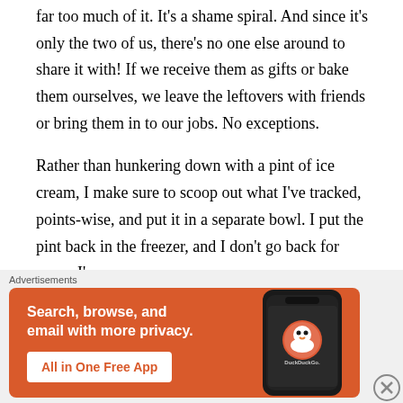far too much of it. It's a shame spiral. And since it's only the two of us, there's no one else around to share it with! If we receive them as gifts or bake them ourselves, we leave the leftovers with friends or bring them in to our jobs. No exceptions.
Rather than hunkering down with a pint of ice cream, I make sure to scoop out what I've tracked, points-wise, and put it in a separate bowl. I put the pint back in the freezer, and I don't go back for more. I've
[Figure (other): DuckDuckGo advertisement banner with orange background. Text reads: 'Search, browse, and email with more privacy. All in One Free App' with a phone mockup showing the DuckDuckGo logo and app name.]